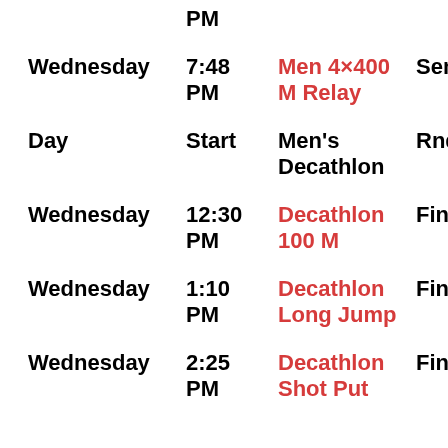| Day | Start | Event | Rnd | S/L |
| --- | --- | --- | --- | --- |
|  | PM |  |  | L |
| Wednesday | 7:48 PM | Men 4×400 M Relay | Semis | S L |
| Day | Start | Men's Decathlon | Rnd | S L |
| Wednesday | 12:30 PM | Decathlon 100 M | Finals | S L |
| Wednesday | 1:10 PM | Decathlon Long Jump | Finals | S L |
| Wednesday | 2:25 PM | Decathlon Shot Put | Finals | S L |